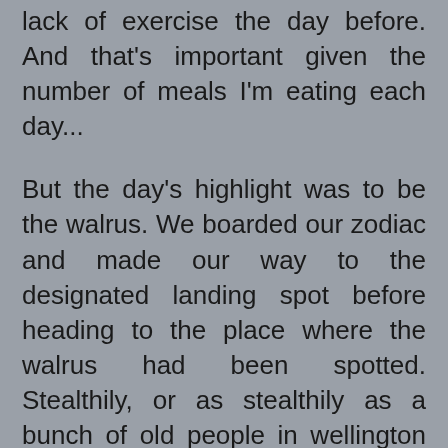lack of exercise the day before. And that's important given the number of meals I'm eating each day...
But the day's highlight was to be the walrus. We boarded our zodiac and made our way to the designated landing spot before heading to the place where the walrus had been spotted. Stealthily, or as stealthily as a bunch of old people in wellington boots can be on a shingle beach, we crept up on the pile of walrus in single file, before stopping just fifty or so feet away. The walrus studiously ignored us, as we're no threat to them. Given that even polar bears offer little threat to an adult walrus, this shouldn't have come a